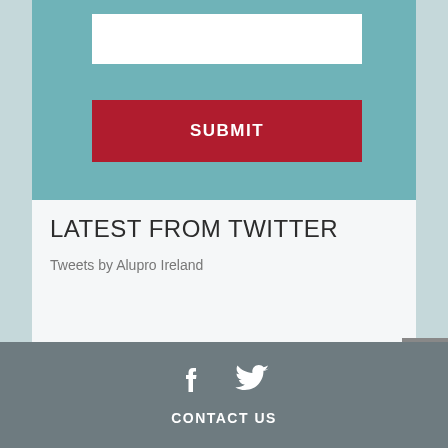[Figure (screenshot): Form area with white input field on teal background]
SUBMIT
LATEST FROM TWITTER
Tweets by Alupro Ireland
CONTACT US